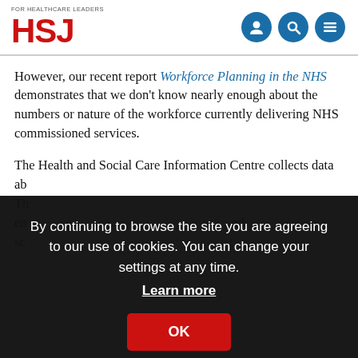HSJ — FOR HEALTHCARE LEADERS
However, our recent report Workforce Planning in the NHS demonstrates that we don't know nearly enough about the numbers or nature of the workforce currently delivering NHS commissioned services.
The Health and Social Care Information Centre collects data ab... Th... en... nd sc... :
[Figure (screenshot): Cookie consent overlay on dark background with text: By continuing to browse the site you are agreeing to our use of cookies. You can change your settings at any time. Learn more. OK button in red.]
independent providers; and